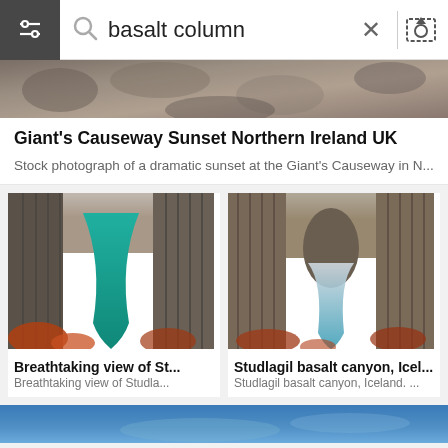[Figure (screenshot): Search bar with filter icon on dark background on left, magnifying glass icon, search text 'basalt column', X close icon, divider, upload image icon]
[Figure (photo): Top cropped image of Giant's Causeway rocky basalt formations]
Giant's Causeway Sunset Northern Ireland UK
Stock photograph of a dramatic sunset at the Giant's Causeway in N...
[Figure (photo): Breathtaking view of Studlagil basalt canyon with turquoise river]
Breathtaking view of St...
Breathtaking view of Studla...
[Figure (photo): Studlagil basalt canyon Iceland with river and dramatic columns]
Studlagil basalt canyon, Icel...
Studlagil basalt canyon, Iceland. ...
[Figure (photo): Partial blue/water bottom image strip]